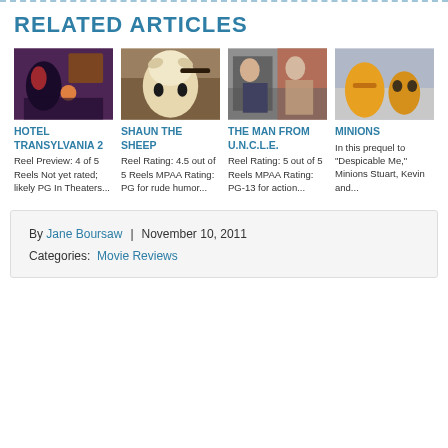RELATED ARTICLES
[Figure (photo): Hotel Transylvania 2 movie still]
HOTEL TRANSYLVANIA 2
Reel Preview: 4 of 5 Reels Not yet rated; likely PG In Theaters...
[Figure (photo): Shaun the Sheep movie still]
SHAUN THE SHEEP
Reel Rating: 4.5 out of 5 Reels MPAA Rating: PG for rude humor...
[Figure (photo): The Man from U.N.C.L.E. movie still]
THE MAN FROM U.N.C.L.E.
Reel Rating: 5 out of 5 Reels MPAA Rating: PG-13 for action...
[Figure (photo): Minions movie still]
MINIONS
In this prequel to "Despicable Me," Minions Stuart, Kevin and...
By Jane Boursaw  |  November 10, 2011
Categories:  Movie Reviews